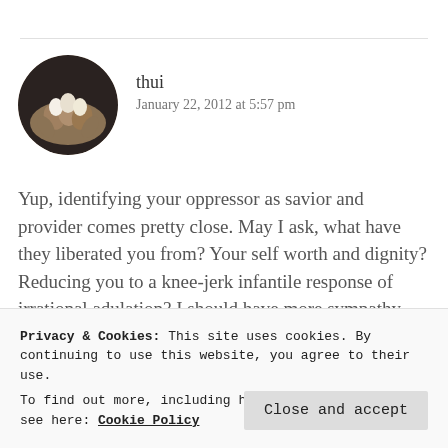[Figure (photo): Circular avatar showing hands holding eggs, used as commenter profile picture]
thui
January 22, 2012 at 5:57 pm
Yup, identifying your oppressor as savior and provider comes pretty close. May I ask, what have they liberated you from? Your self worth and dignity? Reducing you to a knee-jerk infantile response of irrational adulation? I should have more sympathy, there's just too
Privacy & Cookies: This site uses cookies. By continuing to use this website, you agree to their use.
To find out more, including how to control cookies, see here: Cookie Policy
Close and accept